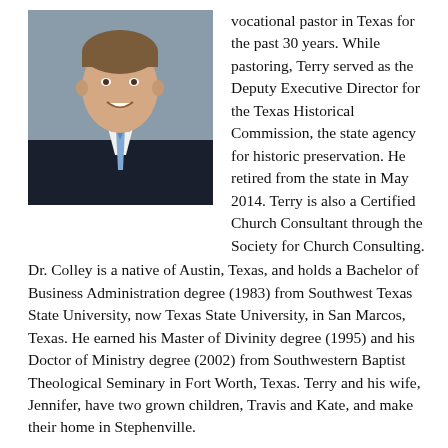[Figure (photo): Headshot of a smiling man in a dark suit with a blue tie, professional portrait photo with grey background]
vocational pastor in Texas for the past 30 years. While pastoring, Terry served as the Deputy Executive Director for the Texas Historical Commission, the state agency for historic preservation. He retired from the state in May 2014. Terry is also a Certified Church Consultant through the Society for Church Consulting.
Dr. Colley is a native of Austin, Texas, and holds a Bachelor of Business Administration degree (1983) from Southwest Texas State University, now Texas State University, in San Marcos, Texas. He earned his Master of Divinity degree (1995) and his Doctor of Ministry degree (2002) from Southwestern Baptist Theological Seminary in Fort Worth, Texas. Terry and his wife, Jennifer, have two grown children, Travis and Kate, and make their home in Stephenville.
[Figure (photo): Partial view of another photo at the bottom of the page, dark/black tones visible]